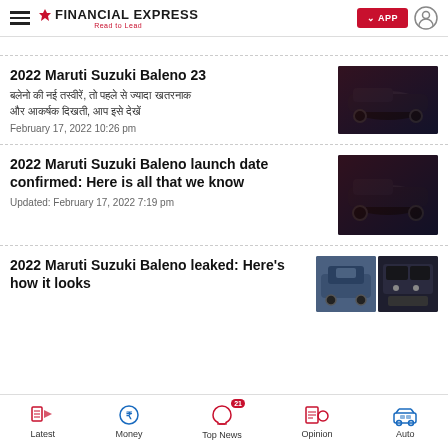Financial Express - Read to Lead
breadcrumb navigation area
2022 Maruti Suzuki Baleno 23
Hindi subtitle text
February 17, 2022 10:26 pm
2022 Maruti Suzuki Baleno launch date confirmed: Here is all that we know
Updated: February 17, 2022 7:19 pm
2022 Maruti Suzuki Baleno leaked: Here's how it looks
Latest | Money | Top News | Opinion | Auto